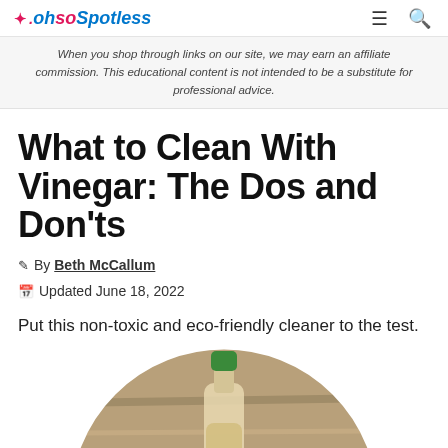.ohsoSpotless
When you shop through links on our site, we may earn an affiliate commission. This educational content is not intended to be a substitute for professional advice.
What to Clean With Vinegar: The Dos and Don'ts
By Beth McCallum
Updated June 18, 2022
Put this non-toxic and eco-friendly cleaner to the test.
[Figure (photo): A bottle of vinegar with a green cap sitting on a wooden surface, shown in a circular crop]